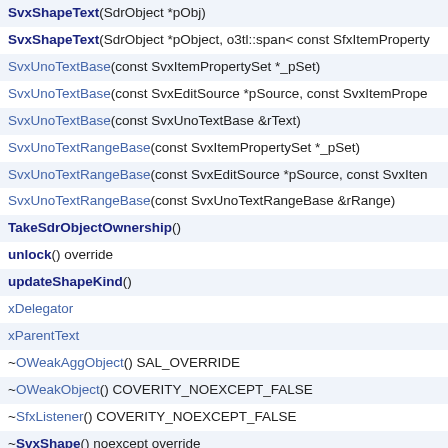SvxShapeText(SdrObject *pObj)
SvxShapeText(SdrObject *pObject, o3tl::span< const SfxItemProperty
SvxUnoTextBase(const SvxItemPropertySet *_pSet)
SvxUnoTextBase(const SvxEditSource *pSource, const SvxItemPrope
SvxUnoTextBase(const SvxUnoTextBase &rText)
SvxUnoTextRangeBase(const SvxItemPropertySet *_pSet)
SvxUnoTextRangeBase(const SvxEditSource *pSource, const SvxIten
SvxUnoTextRangeBase(const SvxUnoTextRangeBase &rRange)
TakeSdrObjectOwnership()
unlock() override
updateShapeKind()
xDelegator
xParentText
~OWeakAggObject() SAL_OVERRIDE
~OWeakObject() COVERITY_NOEXCEPT_FALSE
~SfxListener() COVERITY_NOEXCEPT_FALSE
~SvxShape() noexcept override
~SvxShapeDimensioning() noexcept override
~SvxShapeText() noexcept override
~SvxUnoTextBase() noexcept override
~SvxUnoTextRangeBase() noexcept